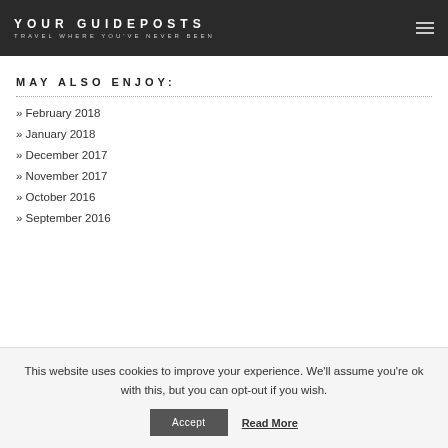YOUR GUIDEPOSTS — TRAVEL WHERE YOU'VE NEVER BEEN
MAY ALSO ENJOY:
» February 2018
» January 2018
» December 2017
» November 2017
» October 2016
» September 2016
This website uses cookies to improve your experience. We'll assume you're ok with this, but you can opt-out if you wish.
Accept | Read More